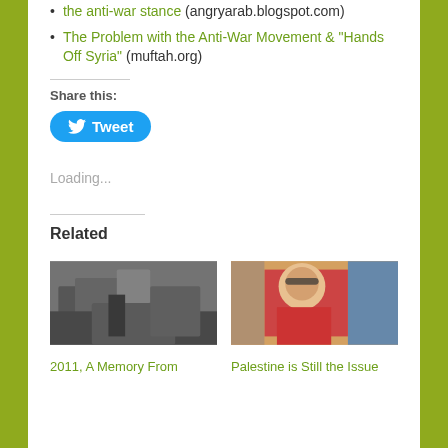the anti-war stance (angryarab.blogspot.com)
The Problem with the Anti-War Movement & "Hands Off Syria" (muftah.org)
Share this:
[Figure (other): Tweet button with Twitter bird icon]
Loading...
Related
[Figure (photo): Black and white photo of ruins, a person standing on rubble in a destroyed urban area]
2011, A Memory From
[Figure (photo): Color photo of a person in a red sweater with glasses, sitting at a table with hands clasped, in an indoor setting]
Palestine is Still the Issue